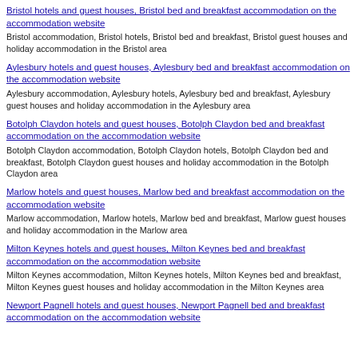Bristol hotels and guest houses, Bristol bed and breakfast accommodation on the accommodation website
Bristol accommodation, Bristol hotels, Bristol bed and breakfast, Bristol guest houses and holiday accommodation in the Bristol area
Aylesbury hotels and guest houses, Aylesbury bed and breakfast accommodation on the accommodation website
Aylesbury accommodation, Aylesbury hotels, Aylesbury bed and breakfast, Aylesbury guest houses and holiday accommodation in the Aylesbury area
Botolph Claydon hotels and guest houses, Botolph Claydon bed and breakfast accommodation on the accommodation website
Botolph Claydon accommodation, Botolph Claydon hotels, Botolph Claydon bed and breakfast, Botolph Claydon guest houses and holiday accommodation in the Botolph Claydon area
Marlow hotels and guest houses, Marlow bed and breakfast accommodation on the accommodation website
Marlow accommodation, Marlow hotels, Marlow bed and breakfast, Marlow guest houses and holiday accommodation in the Marlow area
Milton Keynes hotels and guest houses, Milton Keynes bed and breakfast accommodation on the accommodation website
Milton Keynes accommodation, Milton Keynes hotels, Milton Keynes bed and breakfast, Milton Keynes guest houses and holiday accommodation in the Milton Keynes area
Newport Pagnell hotels and guest houses, Newport Pagnell bed and breakfast accommodation on the accommodation website